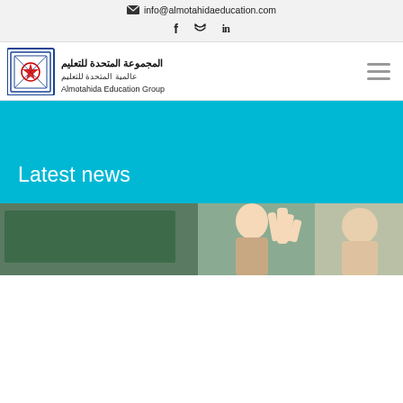info@almotahidaeducation.com
[Figure (logo): Almotahida Education Group logo with Arabic calligraphy and decorative square emblem]
Latest news
[Figure (photo): Classroom photo showing a teacher or student with raised hand near a chalkboard]